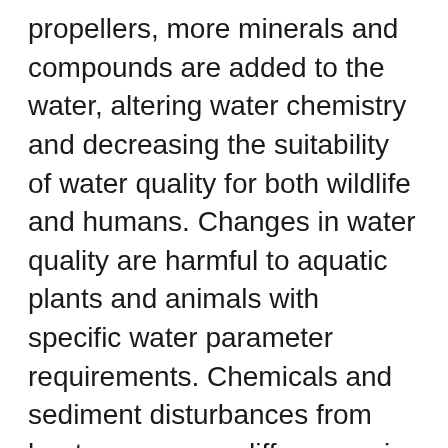propellers, more minerals and compounds are added to the water, altering water chemistry and decreasing the suitability of water quality for both wildlife and humans. Changes in water quality are harmful to aquatic plants and animals with specific water parameter requirements. Chemicals and sediment disturbances from boats can cause differences in light, temperature, water clarity, pH levels and more.
Fish are also vulnerable to high boat traffic and boat engines. The turbulence from a boat motor can drastically change water temperatures by pushing warmer water from the surface downwards, directly affecting fish habitat and spawning beds. Many species of fish, such as lake trout, are extremely vulnerable to these impacts, as more and more motorboats are out on the